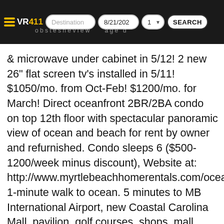VR411 | Destination | 8/21/202 | 1 | SEARCH
& microwave under cabinet in 5/12! 2 new 26" flat screen tv's installed in 5/11! $1050/mo. from Oct-Feb! $1200/mo. for March! Direct oceanfront 2BR/2BA condo on top 12th floor with spectacular panoramic view of ocean and beach for rent by owner and refurnished. Condo sleeps 6 ($500-1200/week minus discount), Website at: http://www.myrtlebeachhomerentals.com/oceanpar. 1-minute walk to ocean. 5 minutes to MB International Airport, new Coastal Carolina Mall, pavilion, golf courses, shops, mall, restaurnats, clubs, grocery, outlet stores, parks, Broadway at the Beach and near